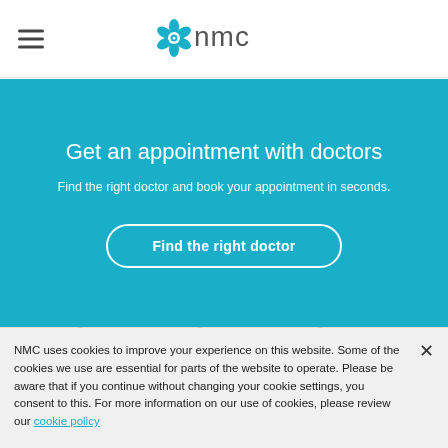NMC header with hamburger menu and logo
Get an appointment with doctors
Find the right doctor and book your appointment in seconds.
Find the right doctor
[Figure (map): Map background section showing tan/beige map area]
Address
NMC uses cookies to improve your experience on this website. Some of the cookies we use are essential for parts of the website to operate. Please be aware that if you continue without changing your cookie settings, you consent to this. For more information on our use of cookies, please review our cookie policy